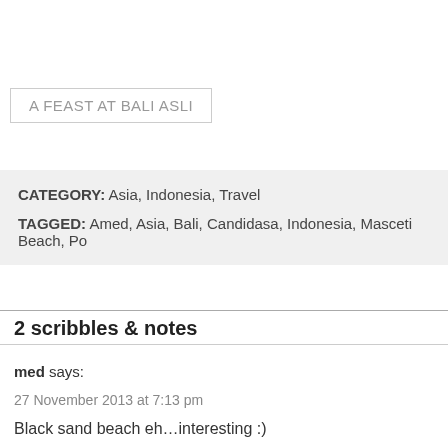A FEAST AT BALI ASLI
CATEGORY: Asia, Indonesia, Travel
TAGGED: Amed, Asia, Bali, Candidasa, Indonesia, Masceti Beach, Po...
2 scribbles & notes
med says:
27 November 2013 at 7:13 pm
Black sand beach eh…interesting :)